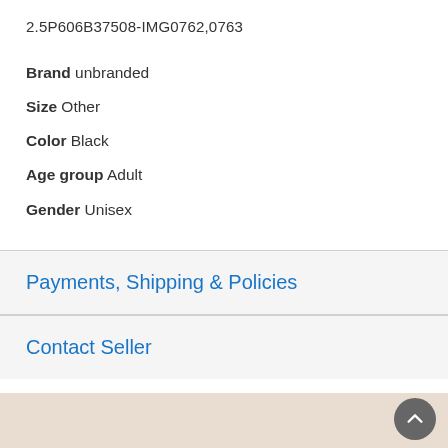2.5P606B37508-IMG0762,0763
Brand unbranded
Size Other
Color Black
Age group Adult
Gender Unisex
Payments, Shipping & Policies
Contact Seller